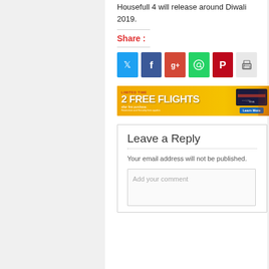Housefull 4 will release around Diwali 2019.
Share :
[Figure (infographic): Social share buttons: Twitter (blue), Facebook (dark blue), Google+ (red), WhatsApp (green), Pinterest (dark red), Print (gray)]
[Figure (infographic): Advertisement banner: '2 FREE FLIGHTS' offer with a credit card image and 'Learn More' button on orange/gold background]
Leave a Reply
Your email address will not be published.
Add your comment